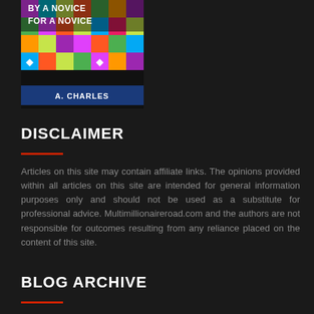[Figure (illustration): Book cover showing colorful cryptocurrency icons on a dark background with text 'BY A NOVICE FOR A NOVICE' and author name 'A. CHARLES']
DISCLAIMER
Articles on this site may contain affiliate links. The opinions provided within all articles on this site are intended for general information purposes only and should not be used as a substitute for professional advice. Multimillionaireroad.com and the authors are not responsible for outcomes resulting from any reliance placed on the content of this site.
BLOG ARCHIVE